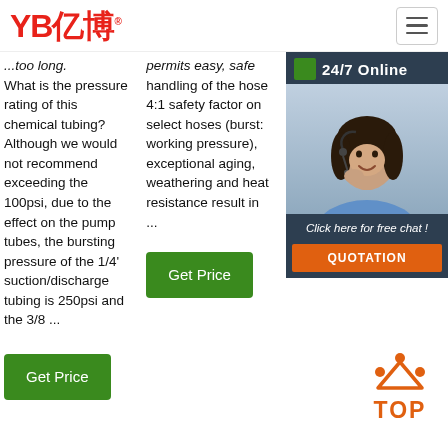YB亿博
... too long. What is the pressure rating of this chemical tubing? Although we would not recommend exceeding the 100psi, due to the effect on the pump tubes, the bursting pressure of the 1/4' suction/discharge tubing is 250psi and the 3/8 ...
permits easy, safe handling of the hose 4:1 safety factor on select hoses (burst: working pressure), exceptional aging, weathering and heat resistance result in ...
Get Price
Get Price
[Figure (photo): Customer service agent with headset, 24/7 Online chat widget with QUOTATION button]
[Figure (infographic): Orange TOP button icon with dots above the text TOP]